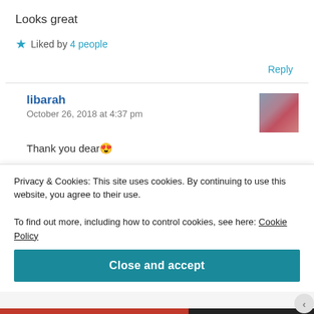Looks great
★ Liked by 4 people
Reply
libarah
October 26, 2018 at 4:37 pm
Thank you dear 😍
Privacy & Cookies: This site uses cookies. By continuing to use this website, you agree to their use.
To find out more, including how to control cookies, see here: Cookie Policy
Close and accept